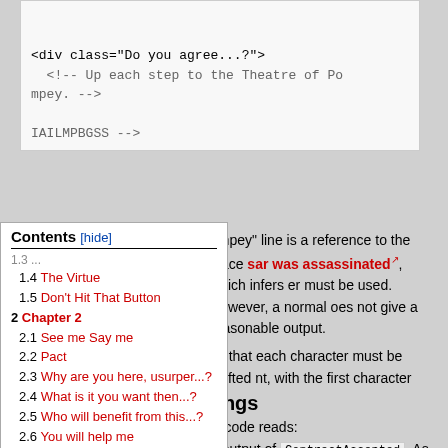[Figure (screenshot): Code block showing HTML comment and div with class Do you agree...?, containing an HTML comment about Theatre of Pompey, and a string IAILMPBGSS in an HTML comment]
1.4 The Virtue
1.5 Don't Hit That Button
2 Chapter 2
2.1 See me Say me
2.2 Pact
2.3 Why are you here, usurper...?
2.4 What is it you want then...?
2.5 Who will benefit from this...?
2.6 You will help me
ompey" line is a reference to the place sar was assassinated, which infers er must be used. However, a normal oes not give a reasonable output. es that each character must be shifted nt, with the first character being shifted aracter being shifted by 2, and so on. e output of ContractAccepted. As nded to get the next puzzle, Strings.
Strings
The source code reads: